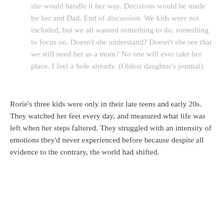she would handle it her way. Decisions would be made by her and Dad. End of discussion. We kids were not included, but we all wanted something to do, something to focus on. Doesn't she understand? Doesn't she see that we still need her as a mom? No one will ever take her place. I feel a hole already. (Oldest daughter's journal)
Rorie's three kids were only in their late teens and early 20s. They watched her feet every day, and measured what life was left when her steps faltered. They struggled with an intensity of emotions they'd never experienced before because despite all evidence to the contrary, the world had shifted.